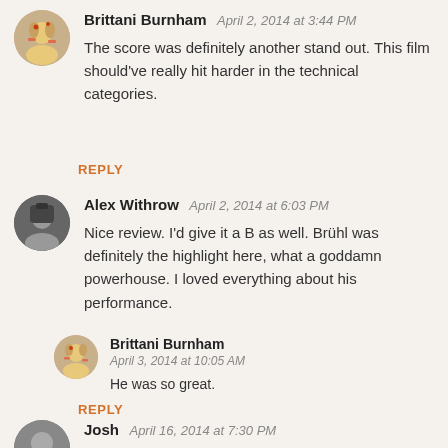Brittani Burnham April 2, 2014 at 3:44 PM — The score was definitely another stand out. This film should've really hit harder in the technical categories.
REPLY
Alex Withrow April 2, 2014 at 6:03 PM — Nice review. I'd give it a B as well. Brühl was definitely the highlight here, what a goddamn powerhouse. I loved everything about his performance.
Brittani Burnham April 3, 2014 at 10:05 AM — He was so great.
REPLY
Josh April 16, 2014 at 7:30 PM